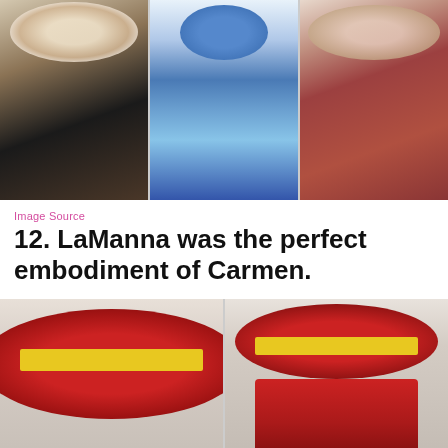[Figure (photo): Three cosplay/costume photos side by side: (left) woman in lace bonnet with flowers and black outfit; (center) person in full blue body paint with blue tutu skirt and blue sneakers; (right) woman in burgundy/rust historical dress with floral headpiece holding a purse.]
Image Source
12. LaManna was the perfect embodiment of Carmen.
[Figure (photo): Two photos side by side of a woman cosplaying as Carmen Sandiego: (left) close-up of a large red wide-brim hat with yellow band; (right) full view of woman in red coat and red hat with yellow band, holding a camera/phone.]